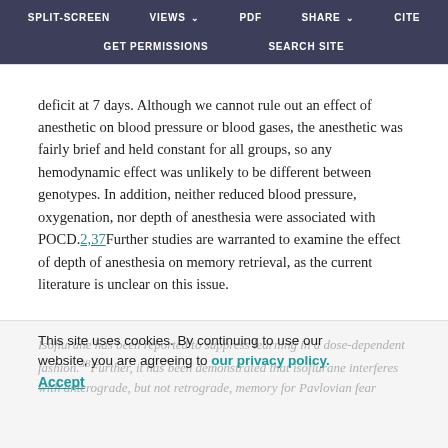SPLIT-SCREEN   VIEWS   PDF   SHARE   CITE   GET PERMISSIONS   SEARCH SITE
deficit at 7 days. Although we cannot rule out an effect of anesthetic on blood pressure or blood gases, the anesthetic was fairly brief and held constant for all groups, so any hemodynamic effect was unlikely to be different between genotypes. In addition, neither reduced blood pressure, oxygenation, nor depth of anesthesia were associated with POCD.2,37Further studies are warranted to examine the effect of depth of anesthesia on memory retrieval, as the current literature is unclear on this issue.
Isoflurane has been reported to suppress learning in a dose-dependent fashion.38Further, it has been demonstrated that isoflurane interferes with anterograde, but not retrograde, memory for Pavlovian fear
This site uses cookies. By continuing to use our website, you are agreeing to our privacy policy. Accept